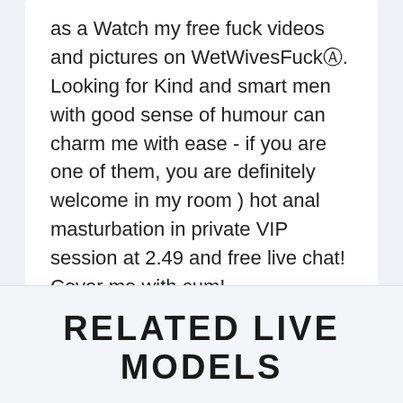as a Watch my free fuck videos and pictures on WetWivesFuckⓀ. Looking for Kind and smart men with good sense of humour can charm me with ease - if you are one of them, you are definitely welcome in my room ) hot anal masturbation in private VIP session at 2.49 and free live chat! Cover me with cum!
[Figure (other): Five red star rating icons arranged in a horizontal row]
RELATED LIVE MODELS